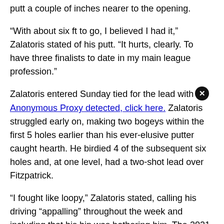putt a couple of inches nearer to the opening.
“With about six ft to go, I believed I had it,” Zalatoris stated of his putt. “It hurts, clearly. To have three finalists to date in my main league profession.”
Zalatoris entered Sunday tied for the lead with Fitzpatrick. Zalatoris struggled early on, making two bogeys within the first 5 holes earlier than his ever-elusive putter caught hearth. He birdied 4 of the subsequent six holes and, at one level, had a two-shot lead over Fitzpatrick.
“I fought like loopy,” Zalatoris stated, calling his driving “appalling” throughout the week and including that his hip was bothering him. The 2021 Masters runner-up’s normal issues have